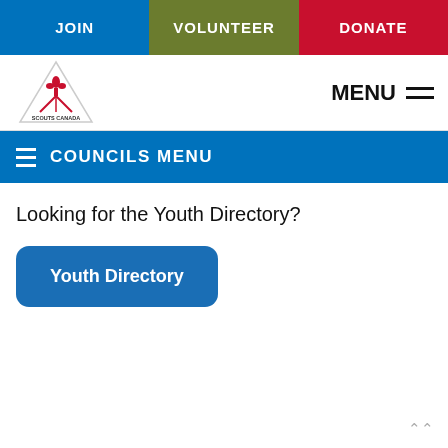JOIN | VOLUNTEER | DONATE
[Figure (logo): Scouts Canada logo — triangular badge with fleur-de-lis and tent icon]
COUNCILS MENU
Looking for the Youth Directory?
Youth Directory